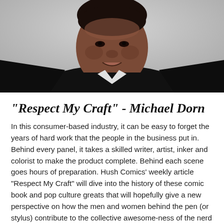[Figure (photo): Portrait photo of Michael Dorn, a man in a black jacket and white shirt, smiling, photographed against a light background. Image is cropped to show head and upper torso.]
"Respect My Craft" - Michael Dorn
In this consumer-based industry, it can be easy to forget the years of hard work that the people in the business put in. Behind every panel, it takes a skilled writer, artist, inker and colorist to make the product complete. Behind each scene goes hours of preparation. Hush Comics’ weekly article “Respect My Craft” will dive into the history of these comic book and pop culture greats that will hopefully give a new perspective on how the men and women behind the pen (or stylus) contribute to the collective awesome-ness of the nerd world, or at least